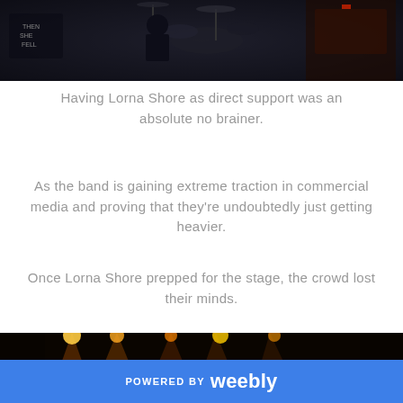[Figure (photo): Concert/band setup photo from above, dark venue with drums and equipment visible, dark blue tones]
Having Lorna Shore as direct support was an absolute no brainer.
As the band is gaining extreme traction in commercial media and proving that they're undoubtedly just getting heavier.
Once Lorna Shore prepped for the stage, the crowd lost their minds.
[Figure (photo): Lorna Shore performing on stage with orange/yellow stage lights beaming, guitarist and vocalist visible in dark venue]
POWERED BY weebly